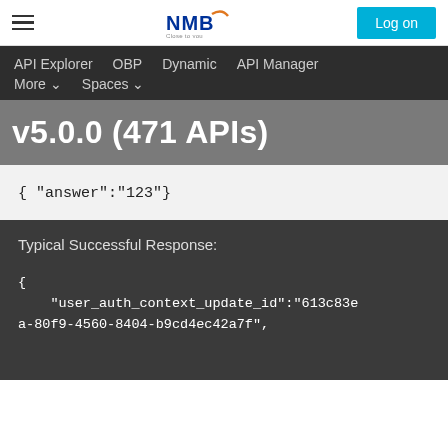NMB | Close to you | Log on
API Explorer   OBP   Dynamic   API Manager   More   Spaces
v5.0.0 (471 APIs)
{ "answer":"123"}
Typical Successful Response:
{
  "user_auth_context_update_id":"613c83e
a-80f9-4560-8404-b9cd4ec42a7f",